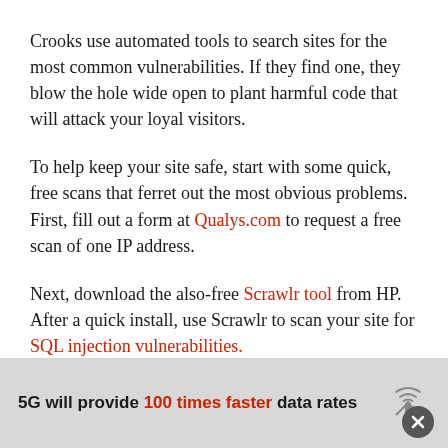Crooks use automated tools to search sites for the most common vulnerabilities. If they find one, they blow the hole wide open to plant harmful code that will attack your loyal visitors.
To help keep your site safe, start with some quick, free scans that ferret out the most obvious problems. First, fill out a form at Qualys.com to request a free scan of one IP address.
Next, download the also-free Scrawlr tool from HP. After a quick install, use Scrawlr to scan your site for SQL injection vulnerabilities.
5G will provide 100 times faster data rates